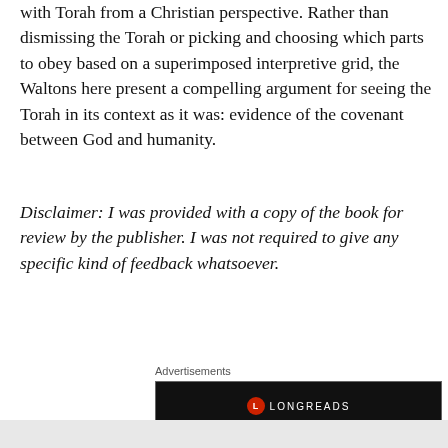with Torah from a Christian perspective. Rather than dismissing the Torah or picking and choosing which parts to obey based on a superimposed interpretive grid, the Waltons here present a compelling argument for seeing the Torah in its context as it was: evidence of the covenant between God and humanity.
Disclaimer: I was provided with a copy of the book for review by the publisher. I was not required to give any specific kind of feedback whatsoever.
Advertisements
[Figure (other): Longreads advertisement banner with black background, red circular logo, and text 'Read anything great lately?']
Advertisements